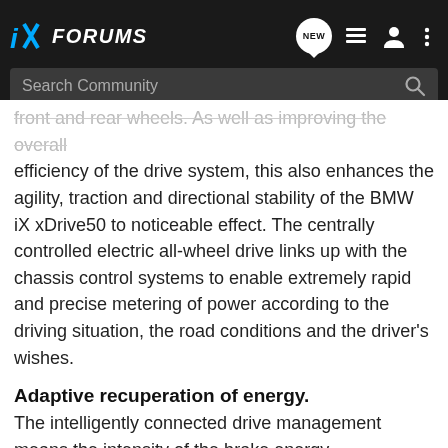iX FORUMS
front and rear wheels. As well as improving the overall efficiency of the drive system, this also enhances the agility, traction and directional stability of the BMW iX xDrive50 to noticeable effect. The centrally controlled electric all-wheel drive links up with the chassis control systems to enable extremely rapid and precise metering of power according to the driving situation, the road conditions and the driver's wishes.
Adaptive recuperation of energy.
The intelligently connected drive management means the intensity of the brake energy recuperation can be adapted to the road situation, as detected by data from the navigation system and by the sensors of the driver assistance systems. When approaching an intersection, for example, the degree of recuperation can be increased, while at the same time feeding energy back into the high-voltage battery and strengthening the